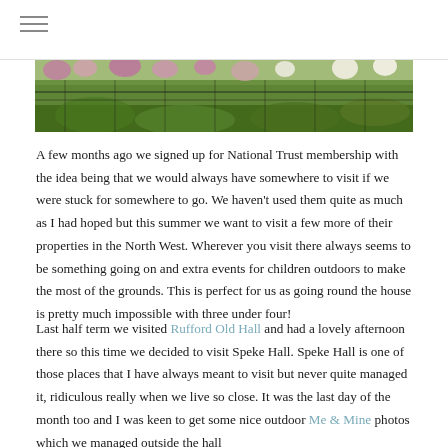[Figure (photo): A cropped photograph showing pink and white roses or flowers against a green leafy background with a dark metal fence or railing visible.]
A few months ago we signed up for National Trust membership with the idea being that we would always have somewhere to visit if we were stuck for somewhere to go. We haven't used them quite as much as I had hoped but this summer we want to visit a few more of their properties in the North West. Wherever you visit there always seems to be something going on and extra events for children outdoors to make the most of the grounds. This is perfect for us as going round the house is pretty much impossible with three under four!
Last half term we visited Rufford Old Hall and had a lovely afternoon there so this time we decided to visit Speke Hall. Speke Hall is one of those places that I have always meant to visit but never quite managed it, ridiculous really when we live so close. It was the last day of the month too and I was keen to get some nice outdoor Me & Mine photos which we managed outside the hall